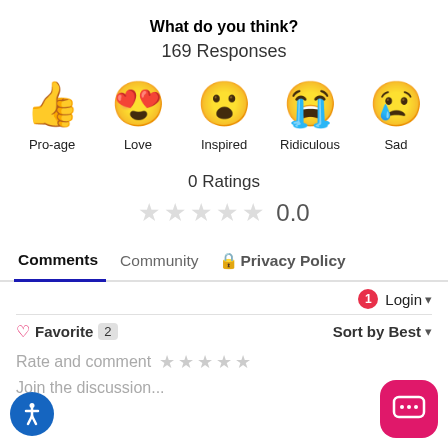What do you think?
169 Responses
[Figure (infographic): Five emoji reaction icons in a row: thumbs up (Pro-age), heart eyes (Love), surprised face (Inspired), crying face (Ridiculous), sad face with tear (Sad)]
0 Ratings
★ ★ ★ ★ ★  0.0
Comments  Community  🔒 Privacy Policy
Login ▾
♡ Favorite  2   Sort by Best ▾
Rate and comment ★ ★ ★ ★ ★
Join the discussion...